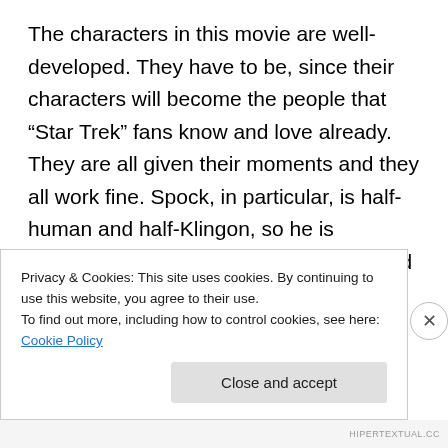The characters in this movie are well-developed. They have to be, since their characters will become the people that “Star Trek” fans know and love already. They are all given their moments and they all work fine. Spock, in particular, is half-human and half-Klingon, so he is constantly taunted by his peers as a child and by the Ministry of Vulcan. Klingons supposedly have no emotion and Spock is always trying to betray emotion, but being also half-human, it’s hard. You really want to see him lose it and shed a tear or even smile once in a while. And then
Privacy & Cookies: This site uses cookies. By continuing to use this website, you agree to their use.
To find out more, including how to control cookies, see here: Cookie Policy
Close and accept